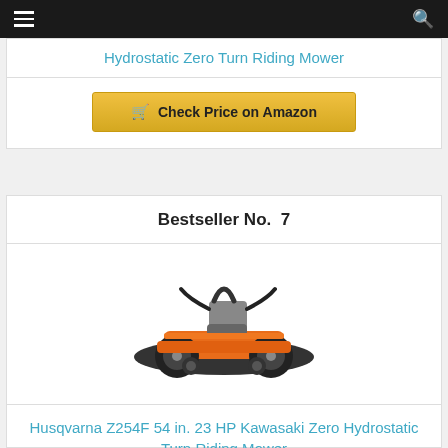Hydrostatic Zero Turn Riding Mower
Check Price on Amazon
Bestseller No. 7
[Figure (photo): Husqvarna Z254F orange zero turn riding mower on white background]
Husqvarna Z254F 54 in. 23 HP Kawasaki Zero Hydrostatic Turn Riding Mower
Check Price on Amazon